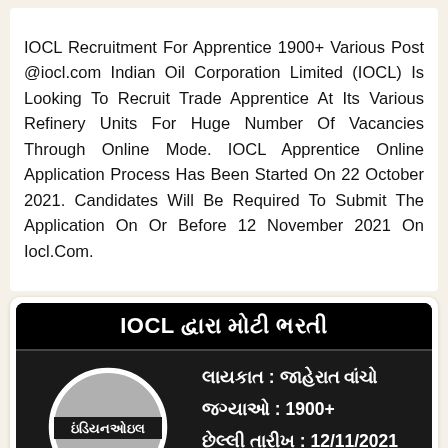IOCL Recruitment For Apprentice 1900+ Various Post @iocl.com Indian Oil Corporation Limited (IOCL) Is Looking To Recruit Trade Apprentice At Its Various Refinery Units For Huge Number Of Vacancies Through Online Mode. IOCL Apprentice Online Application Process Has Been Started On 22 October 2021. Candidates Will Be Required To Submit The Application On Or Before 12 November 2021 On Iocl.Com.
[Figure (infographic): IOCL recruitment advertisement in Gujarati. Header reads 'IOCL દ્વારા મોટી ભરતી' (IOCL Big Recruitment). Contains Indian Oil logo with text 'ઇંડિયનઓઇલ' and three lines: 'લાયકાત : જાહેરાત વાંચો', 'જગ્યાઓ : 1900+', 'છેલ્લી તારીખ : 12/11/2021']